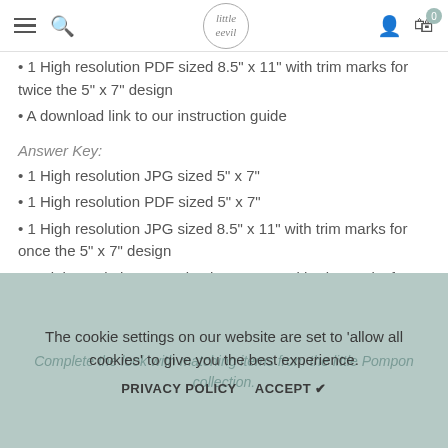Navigation bar with hamburger menu, search icon, Little Ecie logo, user icon, and cart (0)
1 High resolution PDF sized 8.5" x 11" with trim marks for twice the 5" x 7" design
A download link to our instruction guide
Answer Key:
1 High resolution JPG sized 5" x 7"
1 High resolution PDF sized 5" x 7"
1 High resolution JPG sized 8.5" x 11" with trim marks for once the 5" x 7" design
1 High resolution PDF sized 8.5" x 11" with trim marks for once the 5" x 7" design
The cookie settings on our website are set to 'allow all cookies' to give you the best experience.
Complete the look with matching items from the Little Pompon collection.
PRIVACY POLICY   ACCEPT ✔